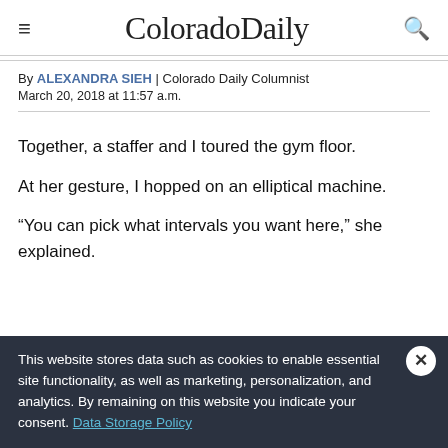ColoradoDaily
By ALEXANDRA SIEH | Colorado Daily Columnist
March 20, 2018 at 11:57 a.m.
Together, a staffer and I toured the gym floor.
At her gesture, I hopped on an elliptical machine.
“You can pick what intervals you want here,” she explained.
This website stores data such as cookies to enable essential site functionality, as well as marketing, personalization, and analytics. By remaining on this website you indicate your consent. Data Storage Policy